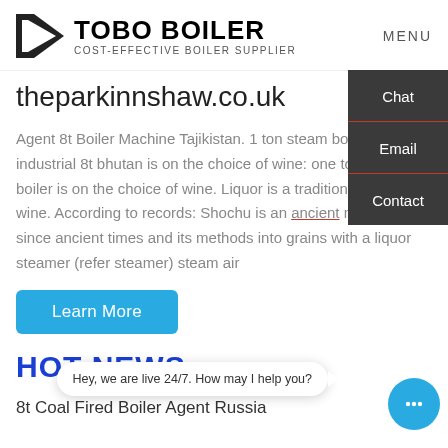TOBO BOILER COST-EFFECTIVE BOILER SUPPLIER | MENU
theparkinnshaw.co.uk
Agent 8t Boiler Machine Tajikistan. 1 ton steam boiler agent industrial 8t bhutan is on the choice of wine: one ton steam boiler is on the choice of wine. Liquor is a traditional Chinese wine. According to records: Shochu is an ancient method since ancient times and its methods into grains with a liquor steamer (refer steamer) steam air
HOT NEWS
8t Coal Fired Boiler Agent Russia